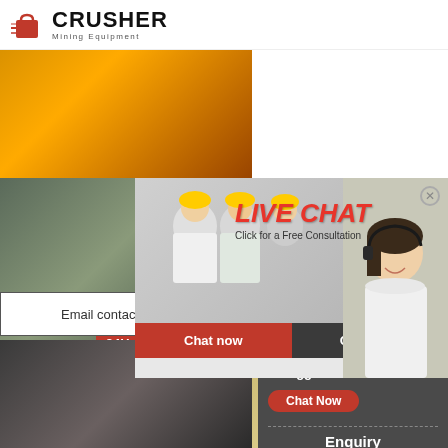[Figure (logo): Crusher Mining Equipment logo with red shopping bag icon and bold CRUSHER text]
[Figure (photo): Yellow crusher machine in industrial facility]
[Figure (photo): Dark industrial machinery, crane or excavator]
24Hrs Online
[Figure (screenshot): Live Chat popup overlay with workers in hard hats, red LIVE CHAT title, Click for a Free Consultation subtitle, Chat now and Chat later buttons, and headset lady on right]
Email contact
Need questions & suggestion?
Chat Now
Enquiry
limingjlmofen@sina.com
[Figure (photo): Conveyor belt or industrial equipment, dark tones]
[Figure (photo): Beige/tan industrial tank or mill equipment]